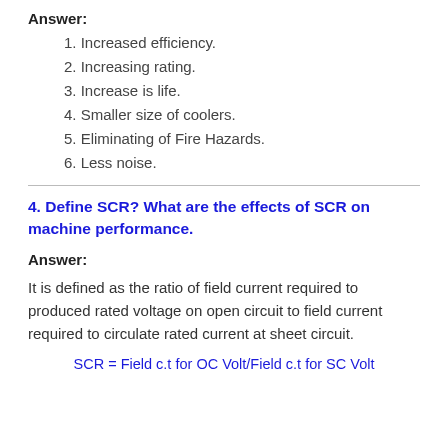Answer:
1. Increased efficiency.
2. Increasing rating.
3. Increase is life.
4. Smaller size of coolers.
5. Eliminating of Fire Hazards.
6. Less noise.
4. Define SCR? What are the effects of SCR on machine performance.
Answer:
It is defined as the ratio of field current required to produced rated voltage on open circuit to field current required to circulate rated current at sheet circuit.
SCR = Field c.t for OC Volt/Field c.t for SC Volt